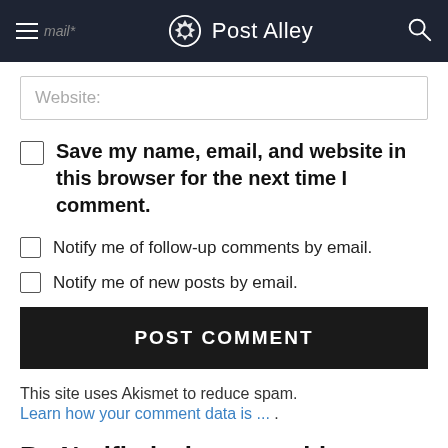Email* Post Alley
Website:
Save my name, email, and website in this browser for the next time I comment.
Notify me of follow-up comments by email.
Notify me of new posts by email.
POST COMMENT
This site uses Akismet to reduce spam. Learn how your comment data is ...
Be Notified when we add new posts